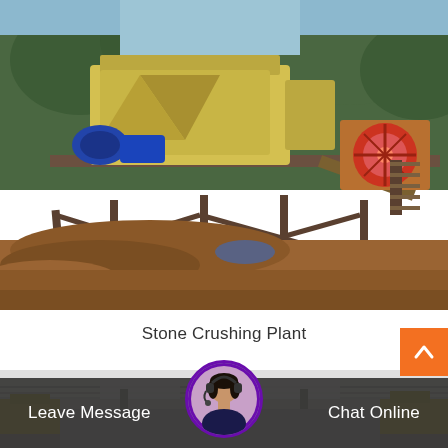[Figure (photo): Outdoor stone crushing plant with large yellow jaw/impact crushers on a raised metal platform structure, with trees and blue sky in background, sandy/muddy terrain in foreground, and a red-wheeled crusher on the right side]
Stone Crushing Plant
[Figure (photo): Indoor industrial facility with yellow conveyor/processing equipment under a corrugated metal roof with natural lighting, partial view]
Leave Message
[Figure (photo): Customer service avatar: woman with headset, circular photo with purple border]
Chat Online